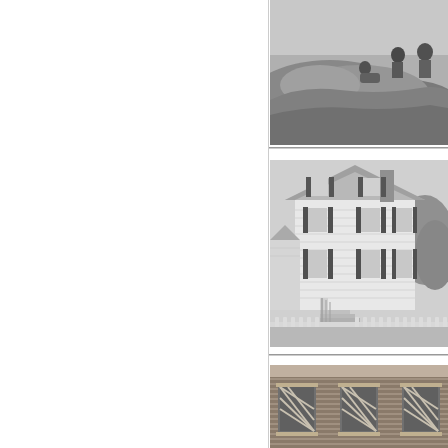[Figure (photo): Black and white photograph of people sitting on rocky shoreline, partially cropped at right edge of page]
[Figure (photo): Black and white photograph of a two-story white clapboard house with dark shutters, exterior staircase, white picket fence in foreground]
[Figure (photo): Black and white photograph of a brick building facade with windows, partially visible at bottom right of page]